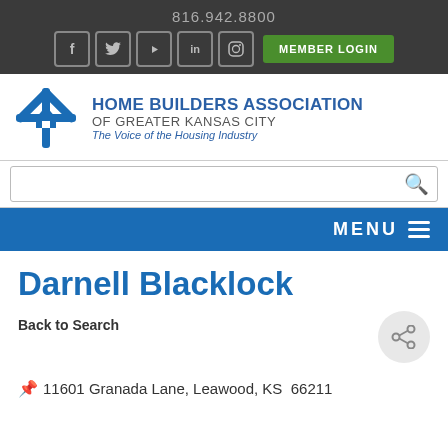816.942.8800
[Figure (screenshot): Social media icons: Facebook, Twitter, YouTube, LinkedIn, Instagram and a green MEMBER LOGIN button]
[Figure (logo): Home Builders Association of Greater Kansas City logo with blue snowflake/house icon. Text: HOME BUILDERS ASSOCIATION OF GREATER KANSAS CITY, The Voice of the Housing Industry]
[Figure (screenshot): Search input bar with magnifying glass icon]
MENU
Darnell Blacklock
Back to Search
[Figure (other): Share icon button in a light grey circle]
11601 Granada Lane, Leawood, KS  66211